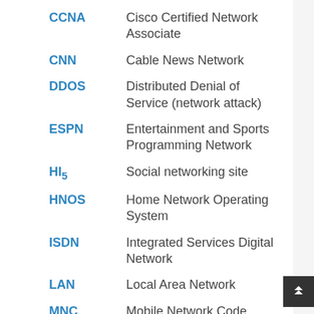CCNA — Cisco Certified Network Associate
CNN — Cable News Network
DDOS — Distributed Denial of Service (network attack)
ESPN — Entertainment and Sports Programming Network
HI5 — Social networking site
HNOS — Home Network Operating System
ISDN — Integrated Services Digital Network
LAN — Local Area Network
MNC — Mobile Network Code